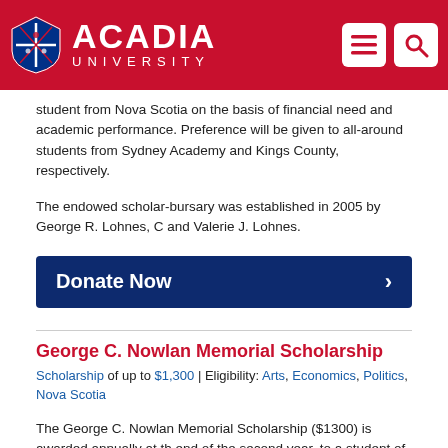[Figure (logo): Acadia University logo with red shield and wordmark on red header bar with menu and search icons]
student from Nova Scotia on the basis of financial need and academic performance. Preference will be given to all-around students from Sydney Academy and Kings County, respectively.
The endowed scholar-bursary was established in 2005 by George R. Lohnes, C and Valerie J. Lohnes.
Donate Now
George C. Nowlan Memorial Scholarship
Scholarship of up to $1,300 | Eligibility: Arts, Economics, Politics, Nova Scotia
The George C. Nowlan Memorial Scholarship ($1300) is awarded annually at the end of the second year, to a student of distinction proceeding to a major in economics or political science, or intending to study law. Preference will be given to students from Nova Scotia. The scholarship is provided from a fund originally established by the Nova Scotia Progressive Conservative Association and Friends as a lecture fund in memory of the late Hon. George C. Nowlan, B.A., L.L.B., D.Sc...